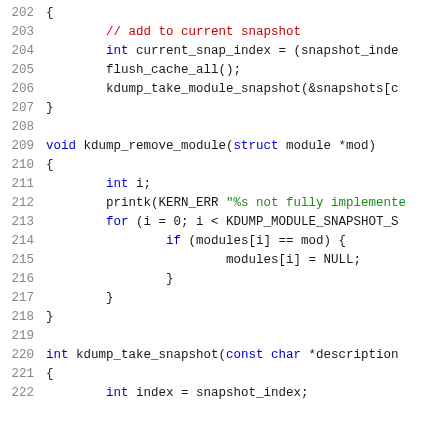Code listing lines 202-222 showing C functions kdump_remove_module and kdump_take_snapshot